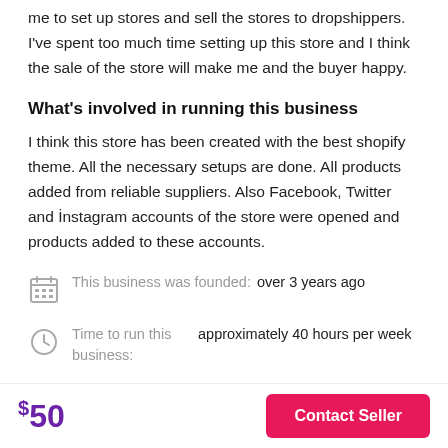me to set up stores and sell the stores to dropshippers. I've spent too much time setting up this store and I think the sale of the store will make me and the buyer happy.
What's involved in running this business
I think this store has been created with the best shopify theme. All the necessary setups are done. All products added from reliable suppliers. Also Facebook, Twitter and İnstagram accounts of the store were opened and products added to these accounts.
This business was founded: over 3 years ago
Time to run this business: approximately 40 hours per week
$50
Contact Seller